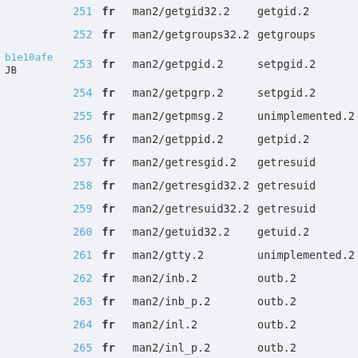| commit | num | lang | path | target |
| --- | --- | --- | --- | --- |
|  | 251 | fr | man2/getgid32.2 | getgid.2 |
|  | 252 | fr | man2/getgroups32.2 | getgroups |
| b1e10afe JB | 253 | fr | man2/getpgid.2 | setpgid.2 |
|  | 254 | fr | man2/getpgrp.2 | setpgid.2 |
|  | 255 | fr | man2/getpmsg.2 | unimplemented.2 |
|  | 256 | fr | man2/getppid.2 | getpid.2 |
|  | 257 | fr | man2/getresgid.2 | getresuid |
|  | 258 | fr | man2/getresgid32.2 | getresuid |
|  | 259 | fr | man2/getresuid32.2 | getresuid |
|  | 260 | fr | man2/getuid32.2 | getuid.2 |
|  | 261 | fr | man2/gtty.2 | unimplemented.2 |
|  | 262 | fr | man2/inb.2 | outb.2 |
|  | 263 | fr | man2/inb_p.2 | outb.2 |
|  | 264 | fr | man2/inl.2 | outb.2 |
|  | 265 | fr | man2/inl_p.2 | outb.2 |
|  | 266 | fr | man2/insb.2 | outb.2 |